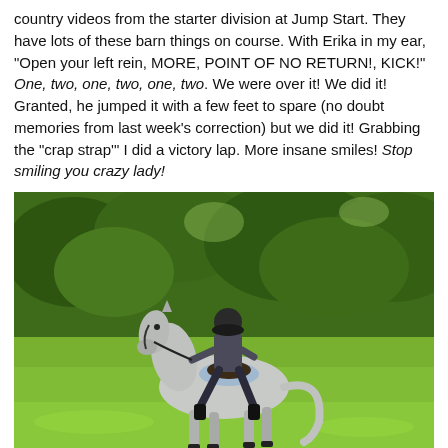country videos from the starter division at Jump Start. They have lots of these barn things on course. With Erika in my ear, "Open your left rein, MORE, POINT OF NO RETURN!, KICK!" One, two, one, two, one, two. We were over it! We did it! Granted, he jumped it with a few feet to spare (no doubt memories from last week's correction) but we did it! Grabbing the "crap strap'" I did a victory lap. More insane smiles! Stop smiling you crazy lady!
[Figure (photo): A rider wearing a helmet and safety vest sits on a grey horse walking through a green grassy field with dense green trees and bushes in the background. The scene is outdoors in bright daylight.]